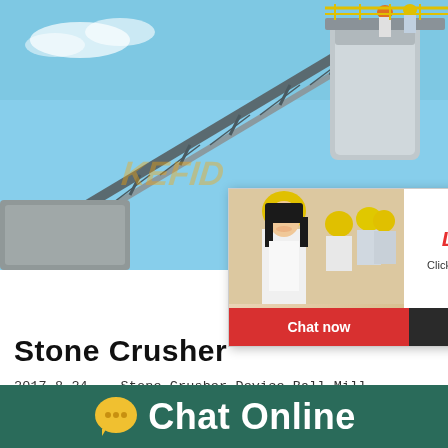[Figure (photo): Industrial conveyor belt / crane with workers in hard hats at top, blue sky background, KEFID watermark]
[Figure (screenshot): Live chat popup overlay with female worker in yellow hard hat, LIVE CHAT title in red italic, 'Click for a Free Consultation' text, Chat now (red) and Chat later (dark) buttons]
[Figure (infographic): Mood/satisfaction gauge widget on right side with emoji faces and speedometer dial, 'Click me to chat >>' button, teal background, 'est state for you!' text]
Stone Crusher
2017-8-24   Stone Crusher Device,Ball Mill   one Crusher, Ball Mill Ore Processing Plant f
[Figure (infographic): Chat Online bar at bottom with yellow speech bubble icon and white 'Chat Online' text on dark teal/green background]